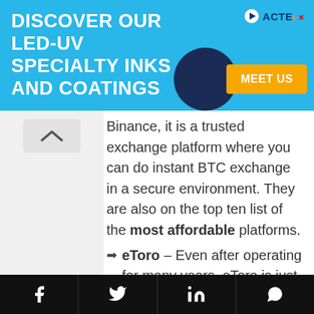[Figure (other): Advertisement banner for LED-UV specialty inks and coatings by Acten, with a 'Meet Us' button]
Binance, it is a trusted exchange platform where you can do instant BTC exchange in a secure environment. They are also on the top ten list of the most affordable platforms.
eToro – Even after operating for many years, eToro is just picking popularity, but consistently proving to be reliable. Probably, you have come across their aggressive marketing, and if you try their crypto exchange services,
f  [Twitter]  in  [WhatsApp]